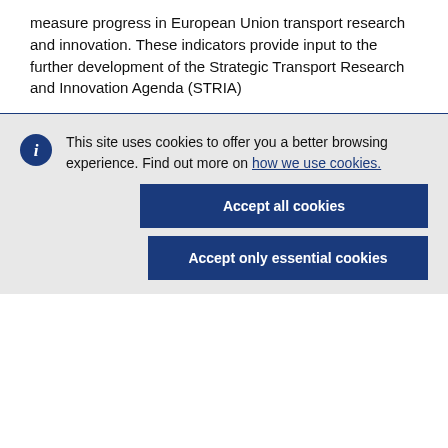measure progress in European Union transport research and innovation. These indicators provide input to the further development of the Strategic Transport Research and Innovation Agenda (STRIA)
This site uses cookies to offer you a better browsing experience. Find out more on how we use cookies.
Accept all cookies
Accept only essential cookies